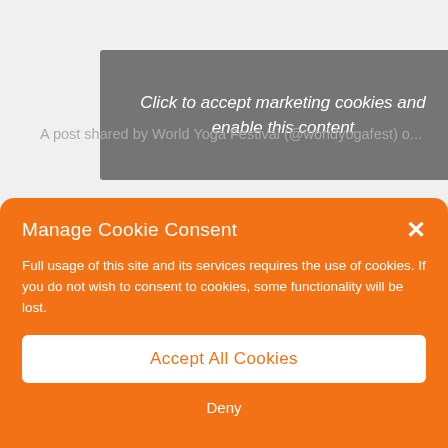[Figure (screenshot): Background webpage content showing a grayed-out social media post embed with text 'A post shared by World Yoga Festival (@worldyogafest) o...' and a dark overlay button.]
Click to accept marketing cookies and enable this content
A post shared by World Yoga Festival (@worldyogafest) o...
Manage Cookie Consent
Full usage of this site and its services requires the use of cookies. If you do not wish to consent to cookies, some functionality will be lost.
Accept All Cookies
Deny